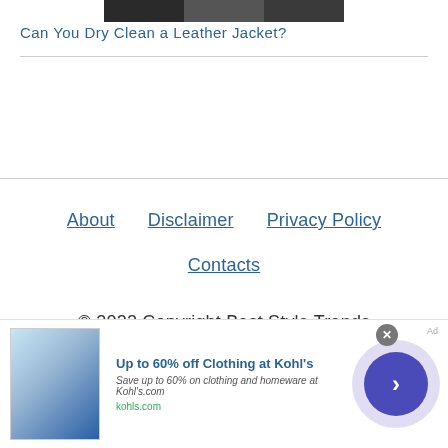[Figure (photo): Partial photo of people, dark background, cropped at top]
Can You Dry Clean a Leather Jacket?
About   Disclaimer   Privacy Policy   Contacts
© 2022 Copyright Best Style Trends
[Figure (screenshot): Advertisement banner: Up to 60% off Clothing at Kohl's. Save up to 60% on clothing and homeware at Kohl's.com. kohls.com]